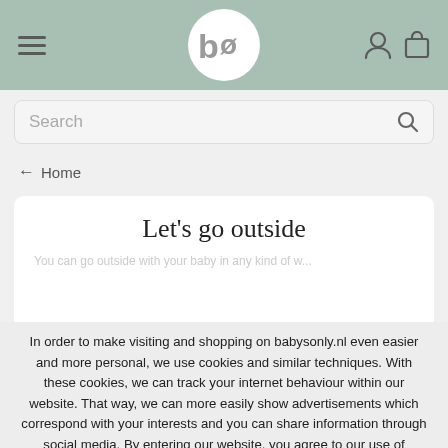babysonly.nl header with hamburger menu, logo, user icon, and cart icon
Search
← Home
Let's go outside
In order to make visiting and shopping on babysonly.nl even easier and more personal, we use cookies and similar techniques. With these cookies, we can track your internet behaviour within our website. That way, we can more easily show advertisements which correspond with your interests and you can share information through social media. By entering our website, you agree to our use of cookies. Would you like to know more? View our cookie policy. Close